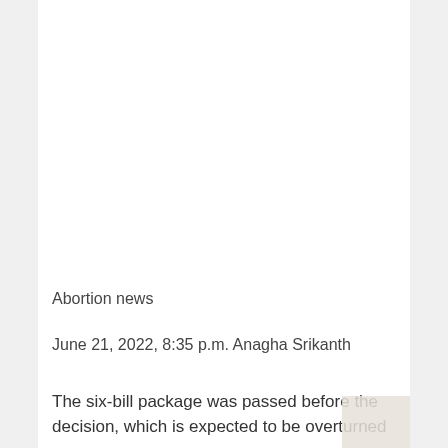Abortion news
June 21, 2022, 8:35 p.m. Anagha Srikanth
The six-bill package was passed before the decision, which is expected to be overturned